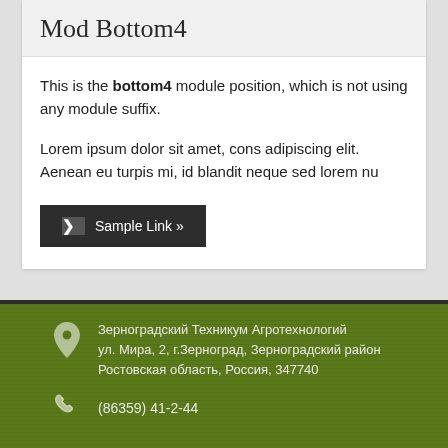Mod Bottom4
This is the bottom4 module position, which is not using any module suffix.
Lorem ipsum dolor sit amet, cons adipiscing elit. Aenean eu turpis mi, id blandit neque sed lorem nu
Sample Link »
Зерноградский Техникум Агротехнологий
ул. Мира, 2, г.Зерноград, Зерноградский район
Ростовская область, Россия, 347740
(86359) 41-2-44